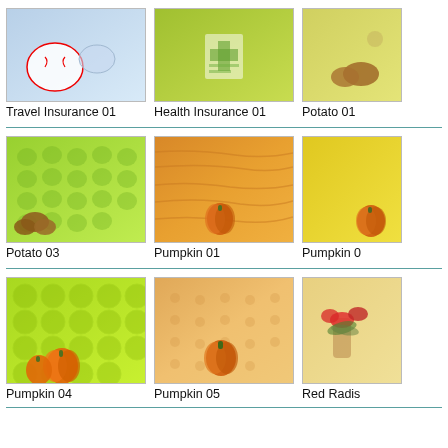[Figure (illustration): Thumbnail image: Travel Insurance 01 - blue background with sports balls]
Travel Insurance 01
[Figure (illustration): Thumbnail image: Health Insurance 01 - green background]
Health Insurance 01
[Figure (illustration): Thumbnail image: Potato 01 - yellow background with potatoes]
Potato 01
[Figure (illustration): Thumbnail image: Potato 03 - green background with potato pattern and potatoes]
Potato 03
[Figure (illustration): Thumbnail image: Pumpkin 01 - orange wood grain background with pumpkin]
Pumpkin 01
[Figure (illustration): Thumbnail image: Pumpkin 02 - yellow background with pumpkin]
Pumpkin 0
[Figure (illustration): Thumbnail image: Pumpkin 04 - green background with pumpkins]
Pumpkin 04
[Figure (illustration): Thumbnail image: Pumpkin 05 - pale orange background with pumpkin]
Pumpkin 05
[Figure (illustration): Thumbnail image: Red Radish - yellow background with flowers/radish]
Red Radis